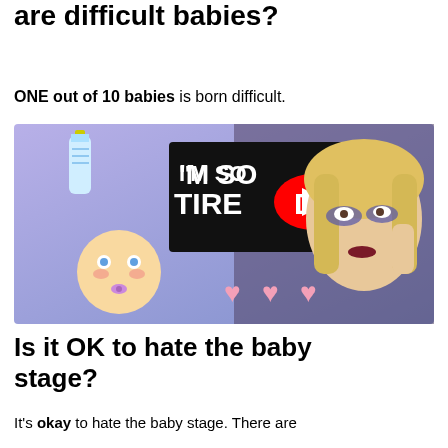What percentage of babies are difficult babies?
ONE out of 10 babies is born difficult.
[Figure (screenshot): YouTube video thumbnail showing a tired woman with dark makeup under her eyes, a baby bottle emoji, a baby face emoji, pink heart emojis, and bold text reading 'I'M SO TIRED' with a YouTube play button overlay.]
Is it OK to hate the baby stage?
It's okay to hate the baby stage. There are